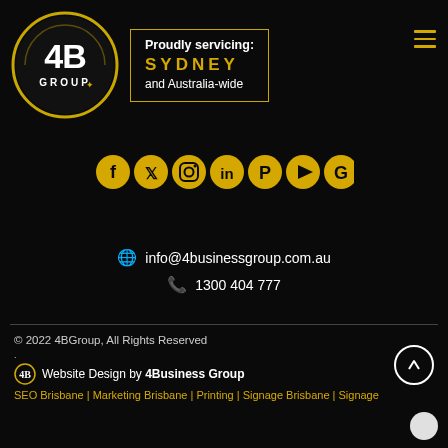[Figure (logo): 4B Group logo: circular gold-bordered emblem with '4B GROUP' text and compass/plus icon on black background]
Proudly servicing: SYDNEY and Australia-wide
[Figure (infographic): Social media icons row: Facebook, Twitter, Instagram, LinkedIn, Pinterest, YouTube, Google — all in gold/yellow]
info@4businessgroup.com.au
1300 404 777
© 2022 4BGroup, All Rights Reserved
Website Design by 4Business Group
SEO Brisbane | Marketing Brisbane | Printing | Signage Brisbane | Signage